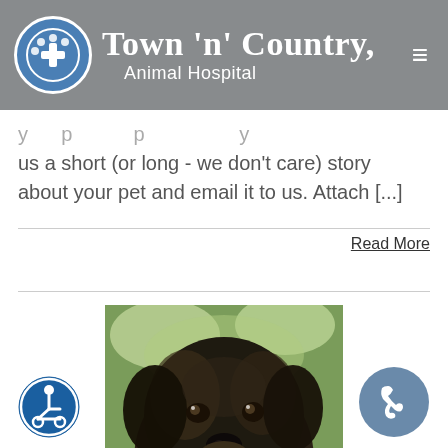[Figure (logo): Town 'n' Country Animal Hospital logo with paw/cross icon in circle, white text on grey header bar with hamburger menu icon]
...y ... p ... p ... y us a short (or long - we don't care) story about your pet and email it to us. Attach [...]
Read More
[Figure (photo): Close-up photo of a large fluffy dark/black dog (appears to be a Newfoundland or similar breed) with mouth open and tongue out, photographed outdoors with green foliage in the background]
[Figure (other): Accessibility (wheelchair) icon button, blue circle with white wheelchair symbol]
[Figure (other): Phone call button, steel blue circle with white phone handset icon]